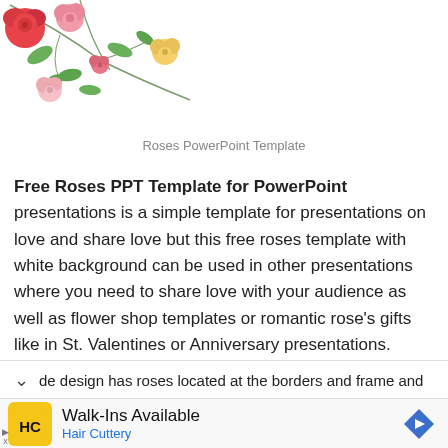[Figure (illustration): Decorative floral arrangement with pink, red, and yellow roses with green leaves at the top-left corner]
Roses PowerPoint Template
Free Roses PPT Template for PowerPoint presentations is a simple template for presentations on love and share love but this free roses template with white background can be used in other presentations where you need to share love with your audience as well as flower shop templates or romantic rose's gifts like in St. Valentines or Anniversary presentations.
de design has roses located at the borders and frame and
[Figure (logo): Hair Cuttery advertisement with HC logo in yellow square, Walk-Ins Available text, Hair Cuttery subtitle in blue, and a blue diamond direction arrow icon]